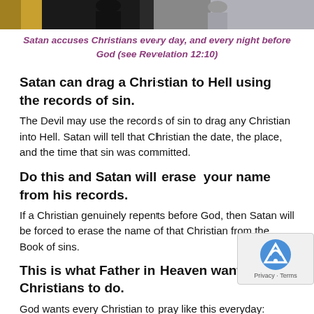[Figure (photo): A dark/partial image strip at the top of the page showing people, a gold/yellow element on the left, and gray tones on the right.]
Satan accuses Christians every day, and every night before God (see Revelation 12:10)
Satan can drag a Christian to Hell using the records of sin.
The Devil may use the records of sin to drag any Christian into Hell. Satan will tell that Christian the date, the place, and the time that sin was committed.
Do this and Satan will erase  your name from his records.
If a Christian genuinely repents before God, then Satan will be forced to erase the name of that Christian from the Book of sins.
This is what Father in Heaven wants Christians to do.
God wants every Christian to pray like this everyday: